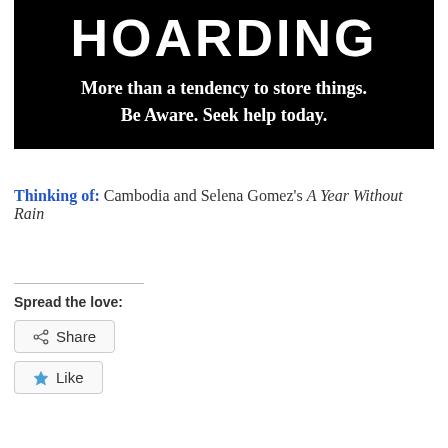[Figure (other): Black banner image with large white bold text reading 'HOARDING' and subtitle 'More than a tendency to store things. Be Aware. Seek help today.']
Thinking of: Cambodia and Selena Gomez's A Year Without Rain
Spread the love:
Share
Like